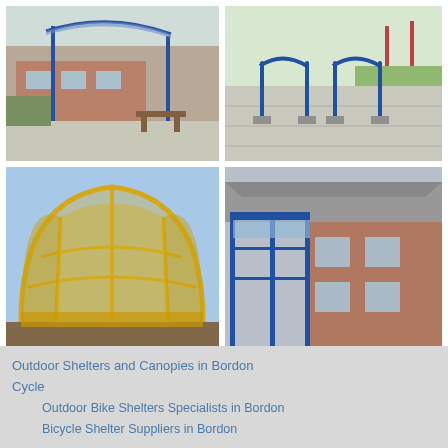[Figure (photo): Outdoor shelter/canopy with blue metal frame and transparent polycarbonate roof attached to a brick building, with picnic bench inside, garden area visible]
[Figure (photo): Blue metal bicycle rack/stand on a concrete path, playground equipment visible in background with grass]
[Figure (photo): Large dome-shaped shelter with yellow metal frame and polycarbonate panels, standalone structure in sunny outdoor area]
[Figure (photo): Blue metal framed enclosed cycle shelter/canopy with transparent panels attached to a brick school building]
Outdoor Shelters and Canopies in Bordon
Cycle
    Outdoor Bike Shelters Specialists in Bordon
    Bicycle Shelter Suppliers in Bordon